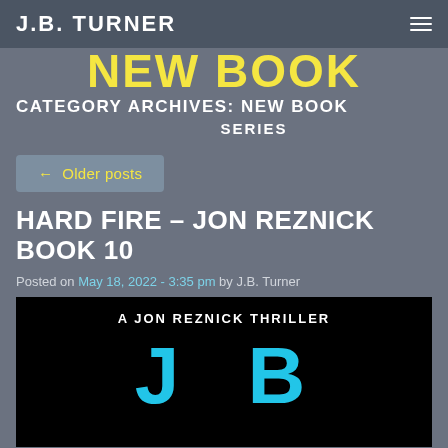J.B. TURNER
NEW BOOK
CATEGORY ARCHIVES: NEW BOOK
SERIES
← Older posts
HARD FIRE – JON REZNICK BOOK 10
Posted on May 18, 2022 - 3:35 pm by J.B. Turner
[Figure (photo): Book cover for Hard Fire - A Jon Reznick Thriller, showing large cyan letters 'J B' on a dark background with red gradient, and the text 'A JON REZNICK THRILLER' at the top.]